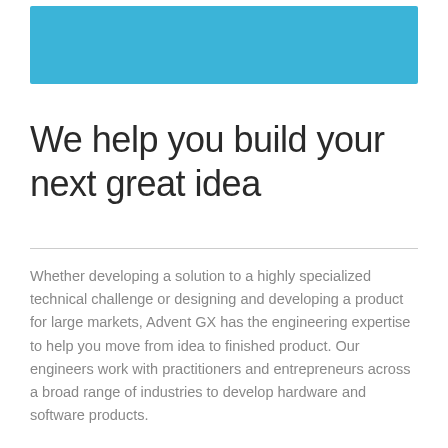[Figure (other): Solid sky-blue horizontal banner rectangle at the top of the page]
We help you build your next great idea
Whether developing a solution to a highly specialized technical challenge or designing and developing a product for large markets, Advent GX has the engineering expertise to help you move from idea to finished product. Our engineers work with practitioners and entrepreneurs across a broad range of industries to develop hardware and software products.